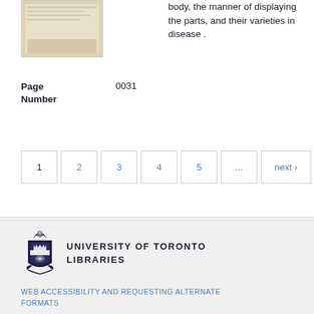[Figure (photo): Thumbnail image of an old document page with aged/yellowed appearance]
body, the manner of displaying the parts, and their varieties in disease .
Page Number
0031
1  2  3  4  5  ...  next ›  last »
[Figure (logo): University of Toronto Libraries shield logo]
UNIVERSITY OF TORONTO LIBRARIES
WEB ACCESSIBILITY AND REQUESTING ALTERNATE FORMATS